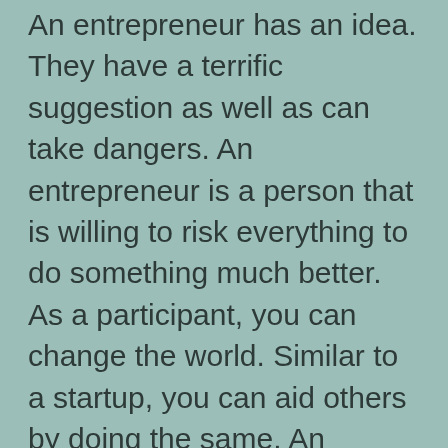An entrepreneur has an idea. They have a terrific suggestion as well as can take dangers. An entrepreneur is a person that is willing to risk everything to do something much better. As a participant, you can change the world. Similar to a startup, you can aid others by doing the same. An entrepreneur must want to take dangers and attempt new things. It will create jobs and create wide range. This will certainly raise their earnings. This will certainly also help them to generate income.
Amongst the qualities that make an entrepreneur effective is his willingness to take